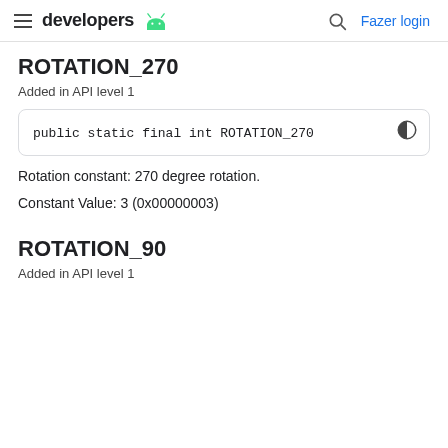developers | Fazer login
ROTATION_270
Added in API level 1
Rotation constant: 270 degree rotation.
Constant Value: 3 (0x00000003)
ROTATION_90
Added in API level 1